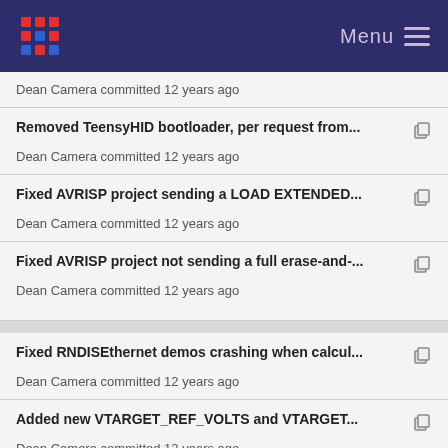Menu
Dean Camera committed 12 years ago
Removed TeensyHID bootloader, per request from...
Dean Camera committed 12 years ago
Fixed AVRISP project sending a LOAD EXTENDED...
Dean Camera committed 12 years ago
Fixed AVRISP project not sending a full erase-and-...
Dean Camera committed 12 years ago
Fixed RNDISEthernet demos crashing when calcul...
Dean Camera committed 12 years ago
Added new VTARGET_REF_VOLTS and VTARGET...
Dean Camera committed 12 years ago
Fixed incorrect signature for the ATMEGA32U2 in t...
Dean Camera committed 12 years ago
Fixed internal device serial not being accessible o...